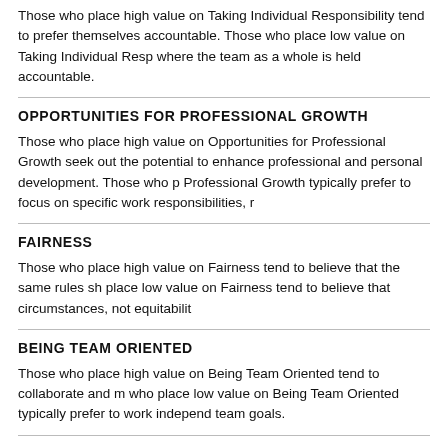Those who place high value on Taking Individual Responsibility tend to prefer themselves accountable. Those who place low value on Taking Individual Responsibility where the team as a whole is held accountable.
OPPORTUNITIES FOR PROFESSIONAL GROWTH
Those who place high value on Opportunities for Professional Growth seek out the potential to enhance professional and personal development. Those who place low value on Opportunities for Professional Growth typically prefer to focus on specific work responsibilities, r
FAIRNESS
Those who place high value on Fairness tend to believe that the same rules should apply to everyone. Those who place low value on Fairness tend to believe that circumstances, not equitability
BEING TEAM ORIENTED
Those who place high value on Being Team Oriented tend to collaborate and motivate others. Those who place low value on Being Team Oriented typically prefer to work independently rather than toward team goals.
SEEKING INPUT FROM OTHERS
Those who place high value on Seeking Input from Others tend to consistently seek constructive criticism. Those who place low value on Seeking Input from Others prefer their own input over other input when making decisions.